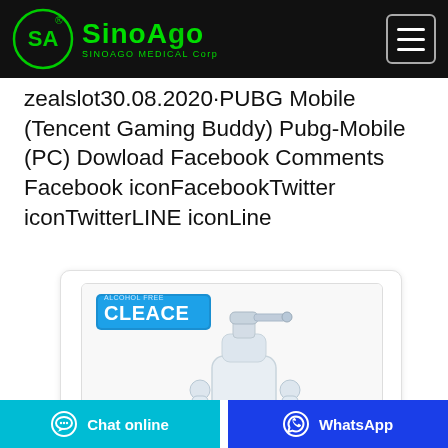SinoAgo SINOAGO MEDICAL Corp
zealslot30.08.2020·PUBG Mobile (Tencent Gaming Buddy) Pubg-Mobile (PC) Dowload Facebook Comments Facebook iconFacebookTwitter iconTwitterLINE iconLine
[Figure (photo): Product image card showing Cleace brand hand sanitizer/dispenser pump bottle, white translucent, with Cleace branded logo in blue on upper left of inner frame]
Chat online   WhatsApp